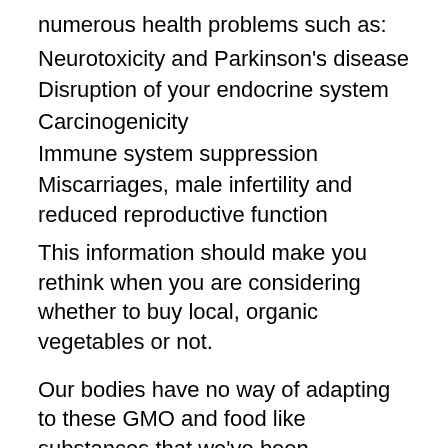numerous health problems such as:
Neurotoxicity and Parkinson's disease
Disruption of your endocrine system
Carcinogenicity
Immune system suppression
Miscarriages, male infertility and reduced reproductive function
This information should make you rethink when you are considering whether to buy local, organic vegetables or not.
Our bodies have no way of adapting to these GMO and food like substances that we've been consuming. Every cell in your body is wrapped in a membrane of half fat and half protein. If you are constantly feeding these cells unnatural fatty acids, that membrane cannot function like it is designed to do and disease starts at the cellular level.